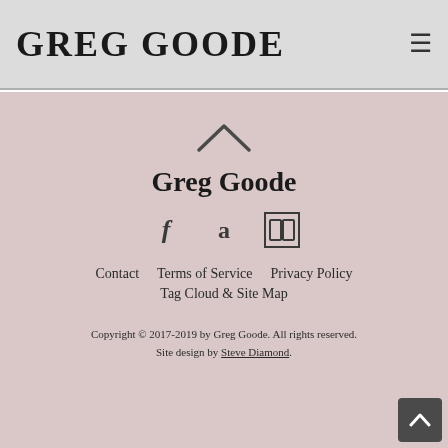Greg Goode
Greg Goode
Contact   Terms of Service   Privacy Policy
Tag Cloud & Site Map
Copyright © 2017-2019 by Greg Goode. All rights reserved.
Site design by Steve Diamond.